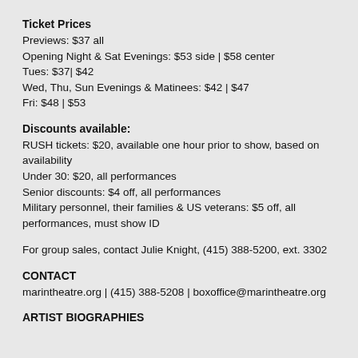Ticket Prices
Previews: $37 all
Opening Night & Sat Evenings: $53 side | $58 center
Tues: $37| $42
Wed, Thu, Sun Evenings & Matinees: $42 | $47
Fri: $48 | $53
Discounts available:
RUSH tickets: $20, available one hour prior to show, based on availability
Under 30: $20, all performances
Senior discounts: $4 off, all performances
Military personnel, their families & US veterans: $5 off, all performances, must show ID
For group sales, contact Julie Knight, (415) 388-5200, ext. 3302
CONTACT
marintheatre.org | (415) 388-5208 | boxoffice@marintheatre.org
ARTIST BIOGRAPHIES